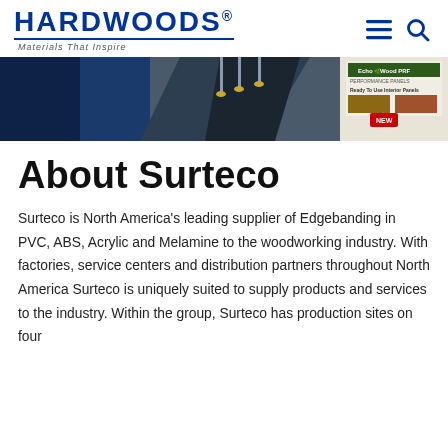HARDWOODS® Materials That Inspire
[Figure (photo): Banner image showing interior architectural ceiling detail with pendant lights and product brochure for EchoWood PRF Ready To Use Interior Panels with a NEW badge]
About Surteco
Surteco is North America's leading supplier of Edgebanding in PVC, ABS, Acrylic and Melamine to the woodworking industry. With factories, service centers and distribution partners throughout North America Surteco is uniquely suited to supply products and services to the industry. Within the group, Surteco has production sites on four continents and employs a workforce of 340...